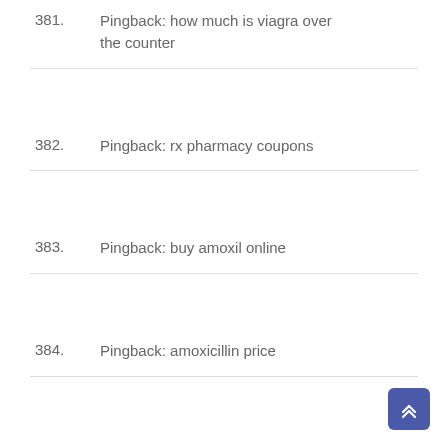381. Pingback: how much is viagra over the counter
382. Pingback: rx pharmacy coupons
383. Pingback: buy amoxil online
384. Pingback: amoxicillin price